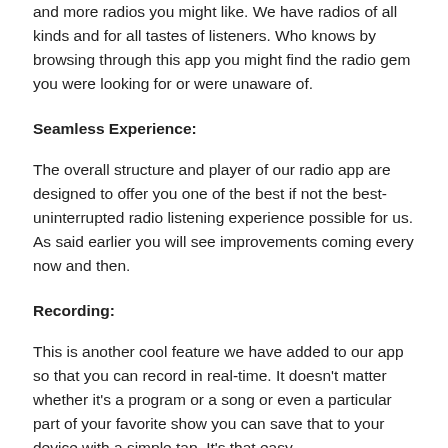and more radios you might like. We have radios of all kinds and for all tastes of listeners. Who knows by browsing through this app you might find the radio gem you were looking for or were unaware of.
Seamless Experience:
The overall structure and player of our radio app are designed to offer you one of the best if not the best-uninterrupted radio listening experience possible for us. As said earlier you will see improvements coming every now and then.
Recording:
This is another cool feature we have added to our app so that you can record in real-time. It doesn't matter whether it's a program or a song or even a particular part of your favorite show you can save that to your device with a simple tap. It's that easy.